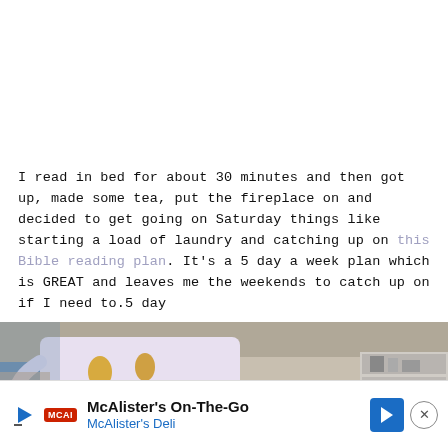I read in bed for about 30 minutes and then got up, made some tea, put the fireplace on and decided to get going on Saturday things like starting a load of laundry and catching up on this Bible reading plan. It's a 5 day a week plan which is GREAT and leaves me the weekends to catch up on if I need to.5 day
[Figure (photo): A hand holding a decorative ceramic mug with black and gold splatter pattern, with a living room visible in the background]
McAlister's On-The-Go
McAlister's Deli